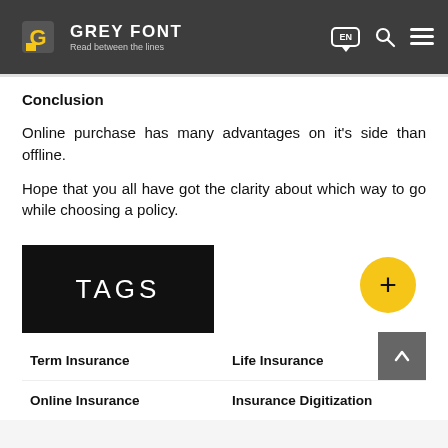GREY FONT — Read between the lines
Conclusion
Online purchase has many advantages on it's side than offline.
Hope that you all have got the clarity about which way to go while choosing a policy.
[Figure (other): TAGS black box with a yellow plus button]
Term Insurance
Life Insurance
Online Insurance
Insurance Digitization